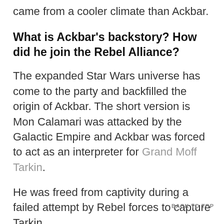came from a cooler climate than Ackbar.
What is Ackbar's backstory? How did he join the Rebel Alliance?
The expanded Star Wars universe has come to the party and backfilled the origin of Ackbar. The short version is Mon Calamari was attacked by the Galactic Empire and Ackbar was forced to act as an interpreter for Grand Moff Tarkin.
He was freed from captivity during a failed attempt by Rebel forces to capture Tarkin.
BACK TO TOP